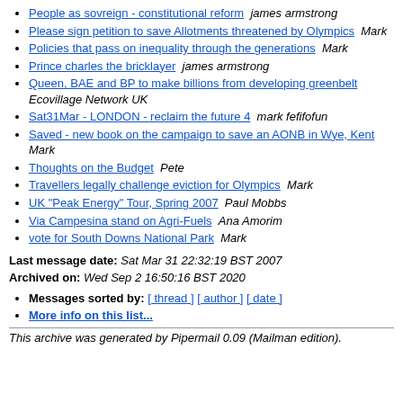People as sovreign - constitutional reform  james armstrong
Please sign petition to save Allotments threatened by Olympics  Mark
Policies that pass on inequality through the generations  Mark
Prince charles the bricklayer  james armstrong
Queen, BAE and BP to make billions from developing greenbelt  Ecovillage Network UK
Sat31Mar - LONDON - reclaim the future 4  mark fefifofun
Saved - new book on the campaign to save an AONB in Wye, Kent  Mark
Thoughts on the Budget  Pete
Travellers legally challenge eviction for Olympics  Mark
UK "Peak Energy" Tour, Spring 2007  Paul Mobbs
Via Campesina stand on Agri-Fuels  Ana Amorim
vote for South Downs National Park  Mark
Last message date: Sat Mar 31 22:32:19 BST 2007
Archived on: Wed Sep 2 16:50:16 BST 2020
Messages sorted by: [ thread ] [ author ] [ date ]
More info on this list...
This archive was generated by Pipermail 0.09 (Mailman edition).